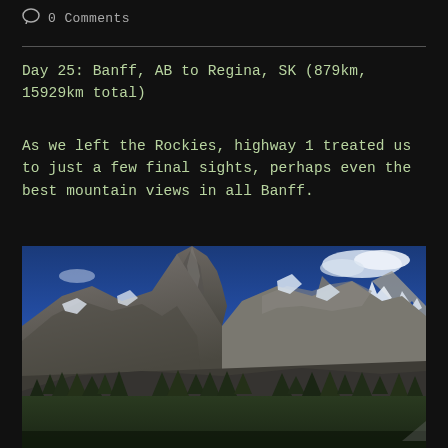0 Comments
Day 25: Banff, AB to Regina, SK (879km, 15929km total)
As we left the Rockies, highway 1 treated us to just a few final sights, perhaps even the best mountain views in all Banff.
[Figure (photo): Mountain landscape photograph showing rocky peaks with snow patches against a deep blue sky with scattered clouds. Dense evergreen forest at the base of the mountains.]